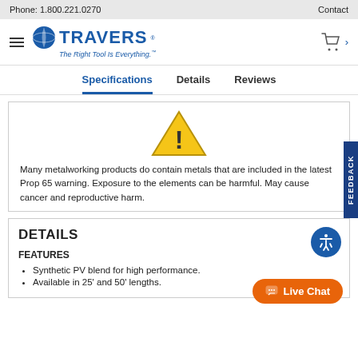Phone: 1.800.221.0270    Contact
[Figure (logo): Travers Tool Co. logo with blue globe icon and tagline 'The Right Tool Is Everything.']
Specifications  Details  Reviews
[Figure (illustration): Yellow warning triangle with exclamation mark (Prop 65 warning symbol)]
Many metalworking products do contain metals that are included in the latest Prop 65 warning. Exposure to the elements can be harmful. May cause cancer and reproductive harm.
DETAILS
FEATURES
Synthetic PV blend for high performance.
Available in 25' and 50' lengths.